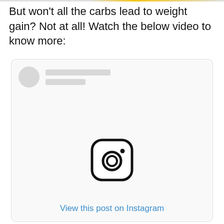But won't all the carbs lead to weight gain? Not at all! Watch the below video to know more:
[Figure (screenshot): Embedded Instagram post placeholder showing a circular avatar placeholder, two gray text line placeholders, the Instagram camera logo icon, and a 'View this post on Instagram' link in blue.]